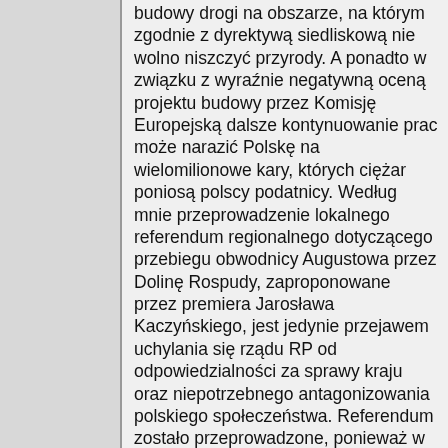budowy drogi na obszarze, na którym zgodnie z dyrektywą siedliskową nie wolno niszczyć przyrody. A ponadto w związku z wyraźnie negatywną oceną projektu budowy przez Komisję Europejską dalsze kontynuowanie prac może narazić Polskę na wielomilionowe kary, których ciężar poniosą polscy podatnicy. Według mnie przeprowadzenie lokalnego referendum regionalnego dotyczącego przebiegu obwodnicy Augustowa przez Dolinę Rospudy, zaproponowane przez premiera Jarosława Kaczyńskiego, jest jedynie przejawem uchylania się rządu RP od odpowiedzialności za sprawy kraju oraz niepotrzebnego antagonizowania polskiego społeczeństwa. Referendum zostało przeprowadzone, ponieważ w tym samym czasie odbywały się wybory do sejmiku